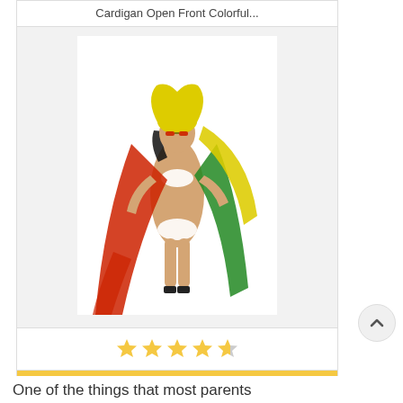Cardigan Open Front Colorful...
[Figure (photo): A woman modeling a colorful open-front cardigan/wrap with red, yellow, green, and black colors over a white bikini]
★★★★☆ (4 stars)
$23.99
-
View Details
One of the things that most parents